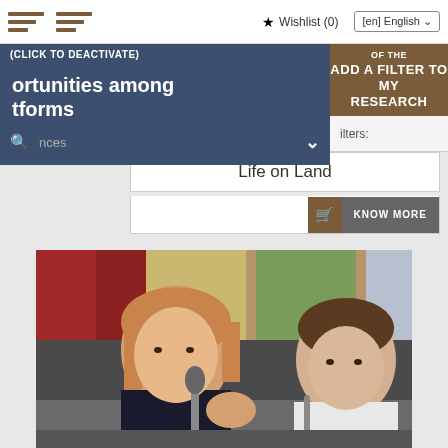Wishlist (0) | [en] English
(CLICK TO DEACTIVATE)
OF THE
ADD A FILTER TO MY RESEARCH
ortunities among tforms
ilters:
nces
Life on Land
KNOW MORE
[Figure (photo): Two people at a conference table. A woman with straight brown hair in a dark top holds a microphone and gestures with her hand. Next to her, a young man in a white shirt looks down. Conference room setting in background.]
EXECUTIVE ROUND TABLE
To be ready to act now...